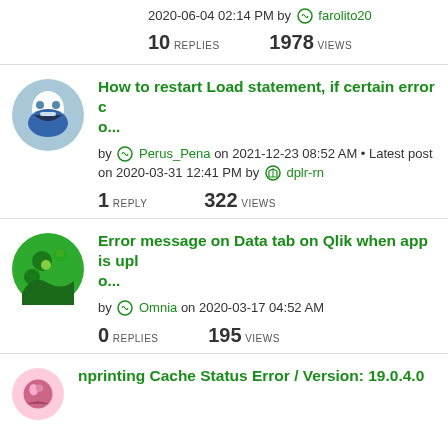2020-06-04 02:14 PM by farolito20
10 REPLIES   1978 VIEWS
How to restart Load statement, if certain error co...
by Perus_Pena on 2021-12-23 08:52 AM • Latest post on 2020-03-31 12:41 PM by dplr-rn
1 REPLY   322 VIEWS
Error message on Data tab on Qlik when app is uplo...
by Omnia on 2020-03-17 04:52 AM
0 REPLIES   195 VIEWS
nprinting Cache Status Error / Version: 19.0.4.0